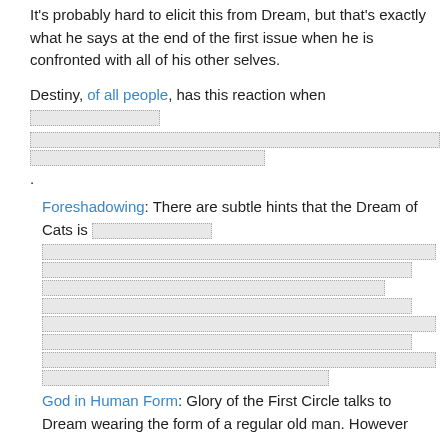It's probably hard to elicit this from Dream, but that's exactly what he says at the end of the first issue when he is confronted with all of his other selves.
Destiny, of all people, has this reaction when [spoiler redacted].
Foreshadowing: There are subtle hints that the Dream of Cats is [spoiler redacted].
God in Human Form: Glory of the First Circle talks to Dream wearing the form of a regular old man. However